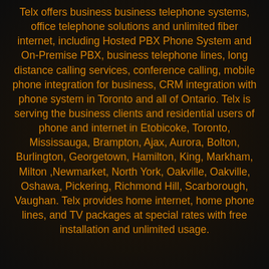Telx offers business business telephone systems, office telephone solutions and unlimited fiber internet, including Hosted PBX Phone System and On-Premise PBX, business telephone lines, long distance calling services, conference calling, mobile phone integration for business, CRM integration with phone system in Toronto and all of Ontario. Telx is serving the business clients and residential users of phone and internet in Etobicoke, Toronto, Mississauga, Brampton, Ajax, Aurora, Bolton, Burlington, Georgetown, Hamilton, King, Markham, Milton ,Newmarket, North York, Oakville, Oakville, Oshawa, Pickering, Richmond Hill, Scarborough, Vaughan. Telx provides home internet, home phone lines, and TV packages at special rates with free installation and unlimited usage.